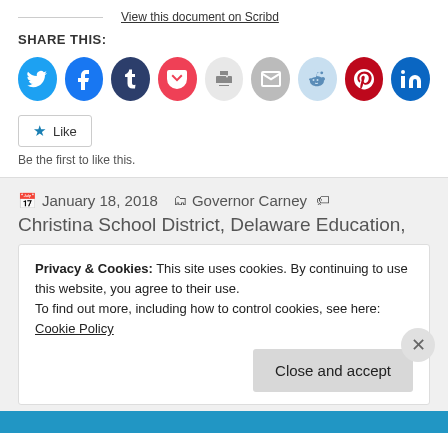View this document on Scribd
SHARE THIS:
[Figure (infographic): Row of social media sharing icon circles: Twitter (blue), Facebook (blue), Tumblr (dark navy), Pocket (red), Print (light gray), Email (gray), Reddit (light blue), Pinterest (red), LinkedIn (dark blue)]
Like
Be the first to like this.
January 18, 2018   Governor Carney   Christina School District, Delaware Education,
Privacy & Cookies: This site uses cookies. By continuing to use this website, you agree to their use.
To find out more, including how to control cookies, see here: Cookie Policy
Close and accept